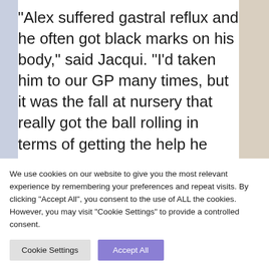“Alex suffered gastral reflux and he often got black marks on his body,” said Jacqui. “I’d taken him to our GP many times, but it was the fall at nursery that really got the ball rolling in terms of getting the help he needed.”
As a clinical lead physiotherapist
We use cookies on our website to give you the most relevant experience by remembering your preferences and repeat visits. By clicking “Accept All”, you consent to the use of ALL the cookies. However, you may visit "Cookie Settings" to provide a controlled consent.